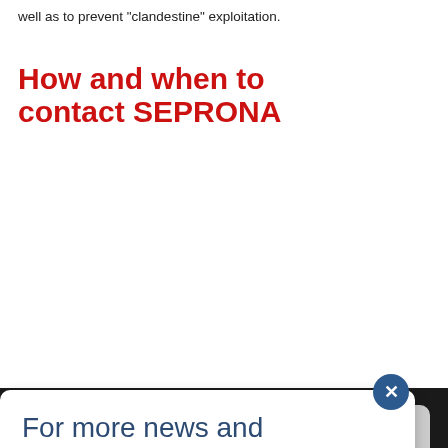well as to prevent "clandestine" exploitation.
How and when to contact SEPRONA
[Figure (screenshot): Newsletter signup modal popup with close button, title 'For more news and information', subscribe label, email input field, and Sign up button]